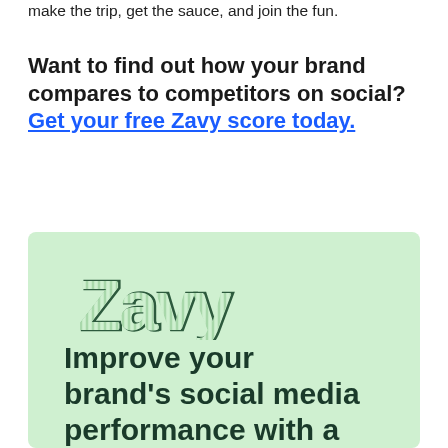make the trip, get the sauce, and join the fun.
Want to find out how your brand compares to competitors on social? Get your free Zavy score today.
[Figure (illustration): Zavy branded banner with light green background showing the Zavy logo in outline style and text 'Improve your brand's social media performance with a']